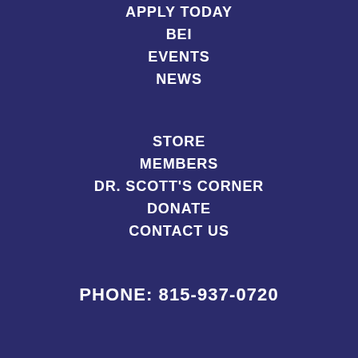APPLY TODAY
BEI
EVENTS
NEWS
STORE
MEMBERS
DR. SCOTT'S CORNER
DONATE
CONTACT US
PHONE: 815-937-0720